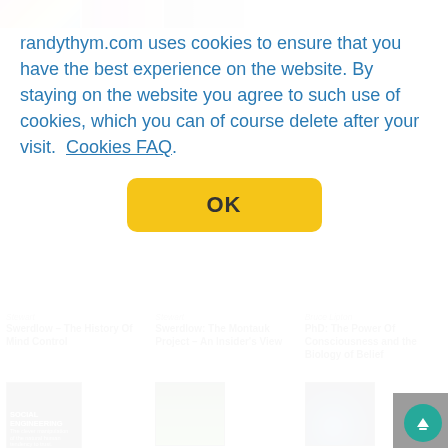[Figure (screenshot): Top strip with two thumbnail images (floral pattern and hand images) partially visible at top of page]
randythym.com uses cookies to ensure that you have the best experience on the website. By staying on the website you agree to such use of cookies, which you can of course delete after your visit.  Cookies FAQ
[Figure (other): Yellow OK button for cookie consent]
Stewart Swerdlow – The History Of Mind Control
Stewart Swerdlow: The Montauk Project – An Insider's View
Bruce Lipton PhD: The Power Of Consciousness and the Biology of Belief
[Figure (photo): Book cover: Social Engineering – The clever manipulation of the natural human tendency to trust.]
[Figure (photo): Close-up photo of green grass with water droplets]
[Figure (photo): Earth from space, dark background with blue glow of atmosphere]